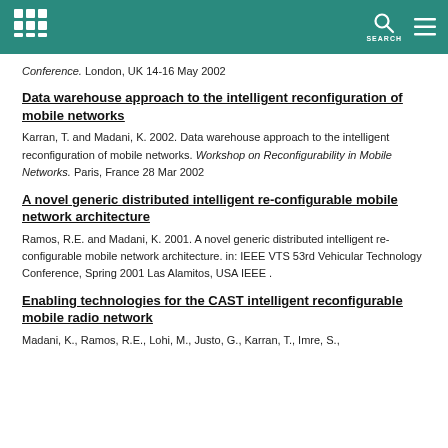Conference. London, UK 14-16 May 2002
Data warehouse approach to the intelligent reconfiguration of mobile networks
Karran, T. and Madani, K. 2002. Data warehouse approach to the intelligent reconfiguration of mobile networks. Workshop on Reconfigurability in Mobile Networks. Paris, France 28 Mar 2002
A novel generic distributed intelligent re-configurable mobile network architecture
Ramos, R.E. and Madani, K. 2001. A novel generic distributed intelligent re-configurable mobile network architecture. in: IEEE VTS 53rd Vehicular Technology Conference, Spring 2001 Las Alamitos, USA IEEE .
Enabling technologies for the CAST intelligent reconfigurable mobile radio network
Madani, K., Ramos, R.E., Lohi, M., Justo, G., Karran, T., Imre, S.,